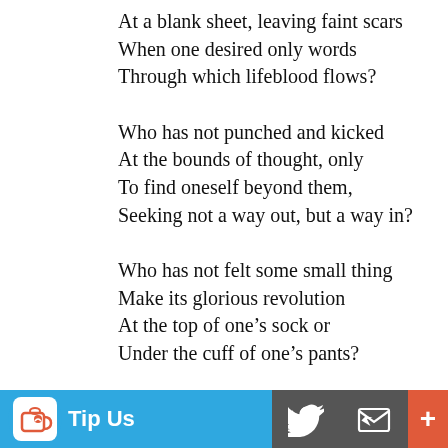At a blank sheet, leaving faint scars
When one desired only words
Through which lifeblood flows?

Who has not punched and kicked
At the bounds of thought, only
To find oneself beyond them,
Seeking not a way out, but a way in?

Who has not felt some small thing
Make its glorious revolution
At the top of one’s sock or
Under the cuff of one’s pants?

No hand without extremity.
No mind that will not fold
Like paper. No stanza that will not cut
The breath to shape what one sees.

Every measure taken is temporary.
At the end of any given line
…mute twist of the stick:
[Figure (infographic): Bottom toolbar with blue 'Tip Us' button with Ko-fi cup icon, grey Twitter bird icon section, grey email/letter icon section, and orange-red plus button section]